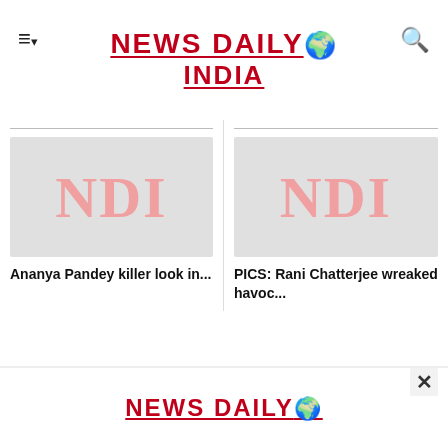NEWS DAILY INDIA
[Figure (photo): Placeholder image with NDI watermark for Ananya Pandey article]
Ananya Pandey killer look in...
[Figure (photo): Placeholder image with NDI watermark for Rani Chatterjee article]
PICS: Rani Chatterjee wreaked havoc...
[Figure (logo): NEWS DAILY globe logo in advertisement banner at bottom]